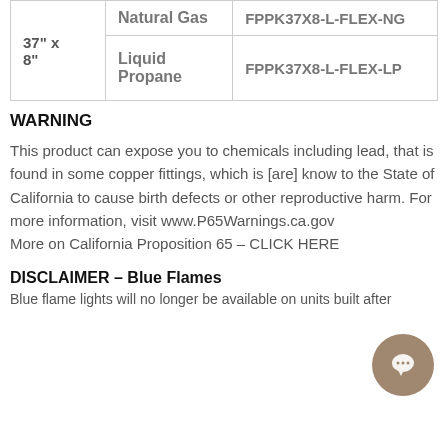| Size | Fuel Type | Model Number |
| --- | --- | --- |
| 37" x 8" | Natural Gas | FPPK37X8-L-FLEX-NG |
|  | Liquid Propane | FPPK37X8-L-FLEX-LP |
WARNING
This product can expose you to chemicals including lead, that is found in some copper fittings, which is [are] know to the State of California to cause birth defects or other reproductive harm. For more information, visit www.P65Warnings.ca.gov
More on California Proposition 65 – CLICK HERE
DISCLAIMER – Blue Flames
Blue flame lights will no longer be available on units built after